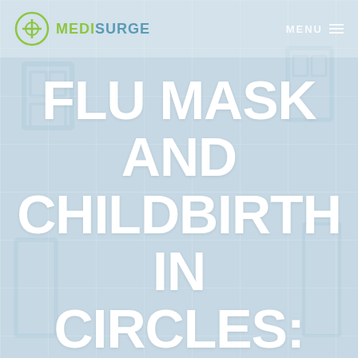MEDISURGE | MENU
FLU MASK AND CHILDBIRTH IN CIRCLES: WEIRD HISTORICAL